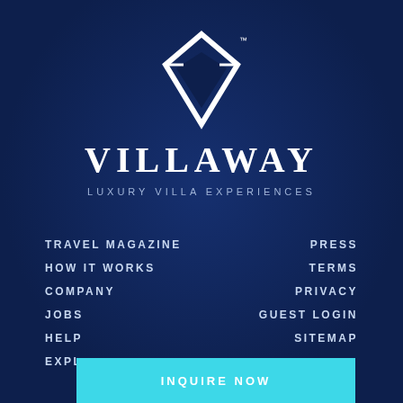[Figure (logo): Villaway diamond logo with brand name VILLAWAY and tagline LUXURY VILLA EXPERIENCES on dark navy background]
TRAVEL MAGAZINE
HOW IT WORKS
COMPANY
JOBS
HELP
EXPL
PRESS
TERMS
PRIVACY
GUEST LOGIN
SITEMAP
INQUIRE NOW